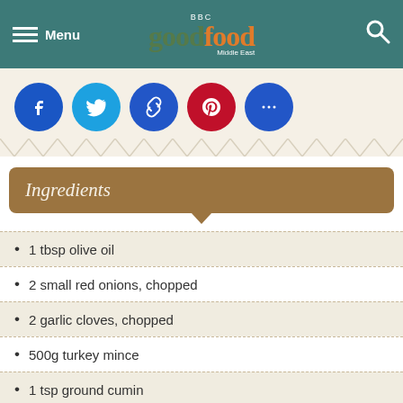BBC Good Food Middle East
[Figure (infographic): Social share buttons: Facebook, Twitter, Link, Pinterest, More]
Ingredients
1 tbsp olive oil
2 small red onions, chopped
2 garlic cloves, chopped
500g turkey mince
1 tsp ground cumin